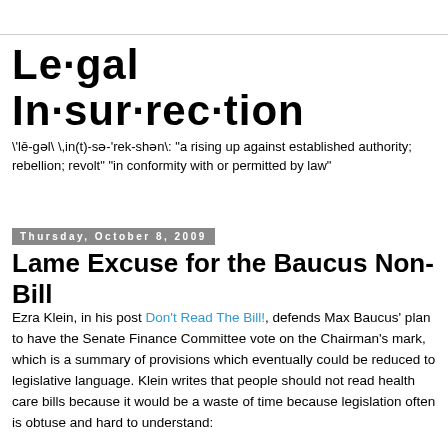Le·gal In·sur·rec·tion
\'lē-gəl\ \,in(t)-sə-'rek-shən\: "a rising up against established authority; rebellion; revolt" "in conformity with or permitted by law"
Thursday, October 8, 2009
Lame Excuse for the Baucus Non-Bill
Ezra Klein, in his post Don't Read The Bill!, defends Max Baucus' plan to have the Senate Finance Committee vote on the Chairman's mark, which is a summary of provisions which eventually could be reduced to legislative language. Klein writes that people should not read health care bills because it would be a waste of time because legislation often is obtuse and hard to understand: